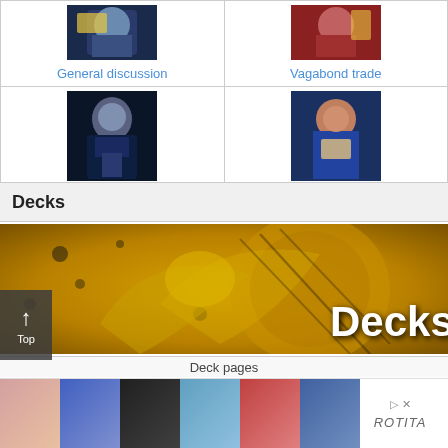[Figure (screenshot): Grid of forum category links: General discussion (anime character with cards), Vagabond trade (character in red), Deck advice (character in suit), Duel room (character opening cards)]
Decks
[Figure (illustration): Yellow dragon (Winged Dragon of Ra style) banner image with 'Decks' text overlay in white bold font]
Top
Deck pages
[Figure (screenshot): Advertisement banner showing multiple images of women in swimwear with ROTITA brand logo]